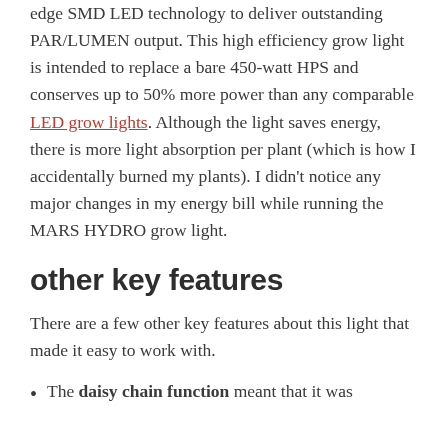edge SMD LED technology to deliver outstanding PAR/LUMEN output. This high efficiency grow light is intended to replace a bare 450-watt HPS and conserves up to 50% more power than any comparable LED grow lights. Although the light saves energy, there is more light absorption per plant (which is how I accidentally burned my plants). I didn't notice any major changes in my energy bill while running the MARS HYDRO grow light.
other key features
There are a few other key features about this light that made it easy to work with.
The daisy chain function meant that it was